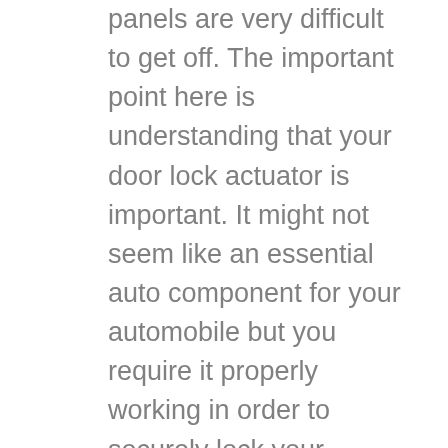panels are very difficult to get off. The important point here is understanding that your door lock actuator is important. It might not seem like an essential auto component for your automobile but you require it properly working in order to securely lock your vehicle when you get out to go in to the retail outlet, the mall as well as when you get home from work or school. Locking and unlocking your vehicle manually when you have ability locks can be extremely frustrating. You can often neglect to manually lock it while you are very much accustomed to pressing a little button and it doing all the hard do the job for you. If this happens for you, you are inserting yourself in the danger of becoming the prey and victim of theft. That is a keyless shaft power lock. It can change single keyway and spline ,so that you can realize the connection between machinery parts (such as gear wheel,flywheel) and shafts so the loading could be